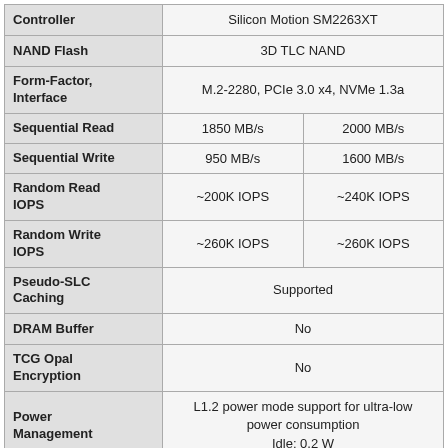|  |  |  |
| --- | --- | --- |
| Controller | Silicon Motion SM2263XT |  |
| NAND Flash | 3D TLC NAND |  |
| Form-Factor, Interface | M.2-2280, PCIe 3.0 x4, NVMe 1.3a |  |
| Sequential Read | 1850 MB/s | 2000 MB/s |
| Sequential Write | 950 MB/s | 1600 MB/s |
| Random Read IOPS | ~200K IOPS | ~240K IOPS |
| Random Write IOPS | ~260K IOPS | ~260K IOPS |
| Pseudo-SLC Caching | Supported |  |
| DRAM Buffer | No |  |
| TCG Opal Encryption | No |  |
| Power Management | L1.2 power mode support for ultra-low power consumption
Idle: 0.2 W |  |